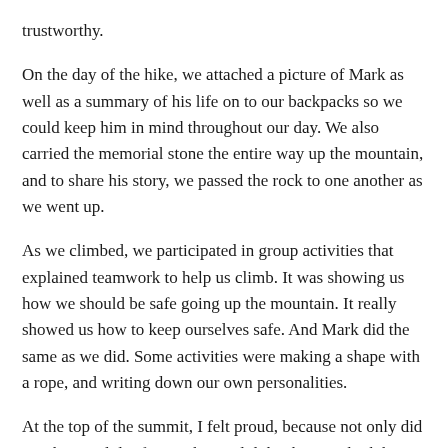trustworthy.
On the day of the hike, we attached a picture of Mark as well as a summary of his life on to our backpacks so we could keep him in mind throughout our day. We also carried the memorial stone the entire way up the mountain, and to share his story, we passed the rock to one another as we went up.
As we climbed, we participated in group activities that explained teamwork to help us climb. It was showing us how we should be safe going up the mountain. It really showed us how to keep ourselves safe. And Mark did the same as we did. Some activities were making a shape with a rope, and writing down our own personalities.
At the top of the summit, I felt proud, because not only did I make it, I did it for Mark. We did the things I think he would do for us, and we did the same for him. And that's the kind of thing that a guy like Mark would do, and that makes me really proud. And I hope that he was proud too.
As I reflect back on this experience, I feel happy that i did this for Mark,